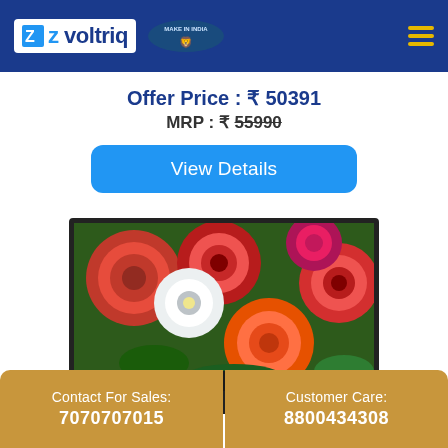[Figure (logo): Voltriq logo on blue header with Make in India badge and hamburger menu]
Offer Price : ₹ 50391
MRP : ₹ 55990
View Details
[Figure (photo): Flat screen TV displaying colorful dahlia flowers in red, white, orange and pink colors]
Contact For Sales:
7070707015
Customer Care:
8800434308